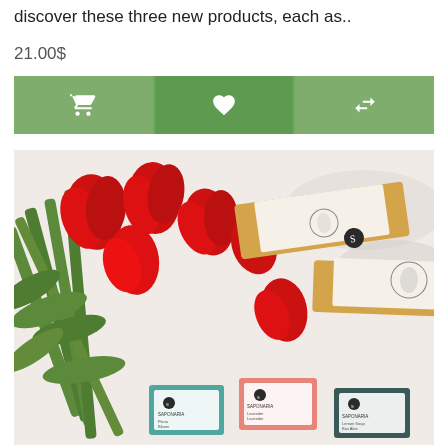discover these three new products, each as..
21.00$
[Figure (screenshot): Three green button bar: shopping cart icon, heart icon, compare icon]
[Figure (photo): Product photo showing red tulips alongside Saponaria branded soap bars and packaging boxes on a white background]